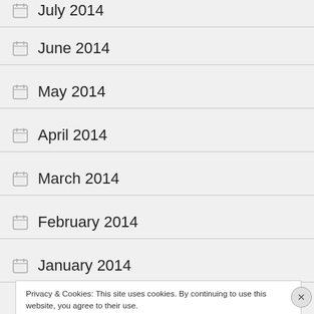July 2014
June 2014
May 2014
April 2014
March 2014
February 2014
January 2014
Privacy & Cookies: This site uses cookies. By continuing to use this website, you agree to their use. To find out more, including how to control cookies, see here: Cookie Policy
Close and accept